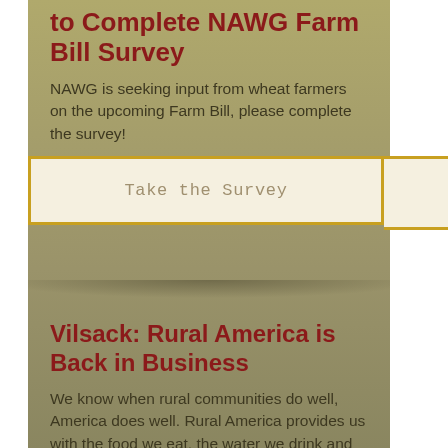to Complete NAWG Farm Bill Survey
NAWG is seeking input from wheat farmers on the upcoming Farm Bill, please complete the survey!
Take the Survey
Vilsack: Rural America is Back in Business
We know when rural communities do well, America does well. Rural America provides us with the food we eat, the water we drink and the energy we use, not to mention a disproportionate percentage of the Nation's military that